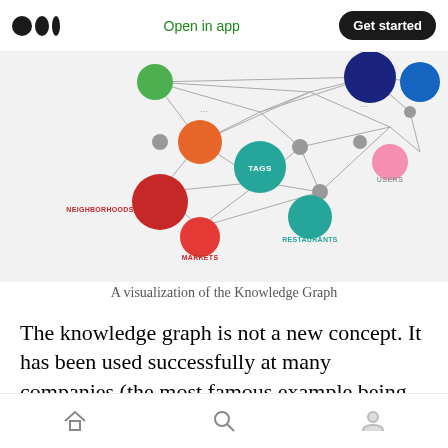Medium logo | Open in app | Get started
[Figure (network-graph): A network graph visualization of a Knowledge Graph showing interconnected nodes labeled TAGS, USERS, NEIGHBORHOODS, MARKETS, RESTAURANTS, connected by lines, with colored circles of varying sizes (red, orange, green, teal, blue, pink, gray)]
A visualization of the Knowledge Graph
The knowledge graph is not a new concept. It has been used successfully at many companies (the most famous example being Google which uses it
Home | Search | Profile